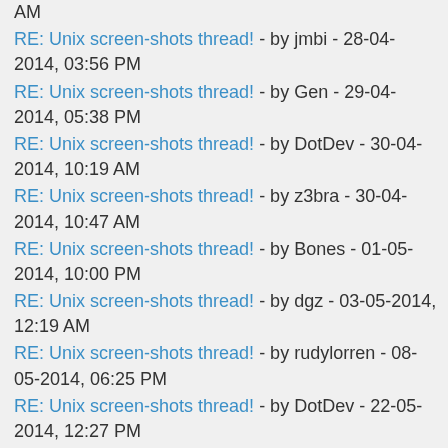AM
RE: Unix screen-shots thread! - by jmbi - 28-04-2014, 03:56 PM
RE: Unix screen-shots thread! - by Gen - 29-04-2014, 05:38 PM
RE: Unix screen-shots thread! - by DotDev - 30-04-2014, 10:19 AM
RE: Unix screen-shots thread! - by z3bra - 30-04-2014, 10:47 AM
RE: Unix screen-shots thread! - by Bones - 01-05-2014, 10:00 PM
RE: Unix screen-shots thread! - by dgz - 03-05-2014, 12:19 AM
RE: Unix screen-shots thread! - by rudylorren - 08-05-2014, 06:25 PM
RE: Unix screen-shots thread! - by DotDev - 22-05-2014, 12:27 PM
RE: Unix screen-shots thread! - by srp - 03-06-2014, 09:28 PM
RE: Unix screen-shots thread! - by Nihility - 07-06-2014, 12:52 PM
RE: Unix screen-shots thread! - by venam - 07-06-2014, 01:21 PM
RE: Unix screen-shots thread! - by Saos - 07-06-2014, 01:17